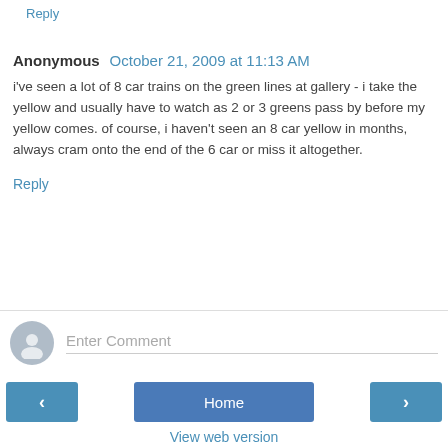Reply
Anonymous  October 21, 2009 at 11:13 AM
i've seen a lot of 8 car trains on the green lines at gallery - i take the yellow and usually have to watch as 2 or 3 greens pass by before my yellow comes. of course, i haven't seen an 8 car yellow in months, always cram onto the end of the 6 car or miss it altogether.
Reply
Enter Comment
Home
View web version
Powered by Blogger.